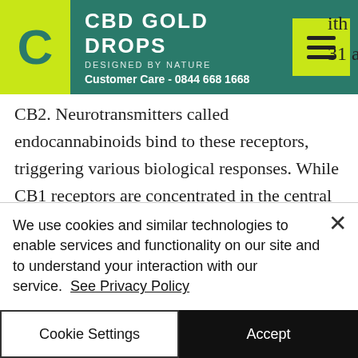CBD GOLD DROPS | DESIGNED BY NATURE | Customer Care - 0844 668 1668
CB2. Neurotransmitters called endocannabinoids bind to these receptors, triggering various biological responses. While CB1 receptors are concentrated in the central nervous system, CB2 receptors can be found on cells throughout the body. However, in people with obesity, CB1 receptors spread beyond the central nervous system, proliferating in fatty tissue. This suggests a connection between CB1
We use cookies and similar technologies to enable services and functionality on our site and to understand your interaction with our service. See Privacy Policy
Cookie Settings
Accept